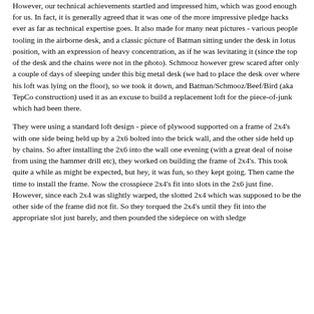However, our technical achievements startled and impressed him, which was good enough for us. In fact, it is generally agreed that it was one of the more impressive pledge hacks ever as far as technical expertise goes. It also made for many neat pictures - various people tooling in the airborne desk, and a classic picture of Batman sitting under the desk in lotus position, with an expression of heavy concentration, as if he was levitating it (since the top of the desk and the chains were not in the photo). Schmooz however grew scared after only a couple of days of sleeping under this big metal desk (we had to place the desk over where his loft was lying on the floor), so we took it down, and Batman/Schmooz/Beef/Bird (aka TepCo construction) used it as an excuse to build a replacement loft for the piece-of-junk which had been there.
They were using a standard loft design - piece of plywood supported on a frame of 2x4's with one side being held up by a 2x6 bolted into the brick wall, and the other side held up by chains. So after installing the 2x6 into the wall one evening (with a great deal of noise from using the hammer drill etc), they worked on building the frame of 2x4's. This took quite a while as might be expected, but hey, it was fun, so they kept going. Then came the time to install the frame. Now the crosspiece 2x4's fit into slots in the 2x6 just fine. However, since each 2x4 was slightly warped, the slotted 2x4 which was supposed to be the other side of the frame did not fit. So they torqued the 2x4's until they fit into the appropriate slot just barely, and then pounded the sidepiece on with sledge...